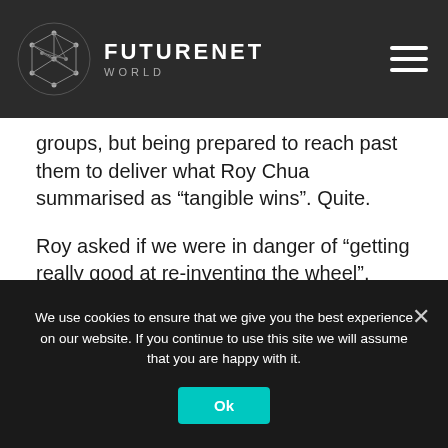FUTURENET WORLD
groups, but being prepared to reach past them to deliver what Roy Chua summarised as “tangible wins”. Quite.
Roy asked if we were in danger of “getting really good at re-inventing the wheel”, which – to its credit – is exactly the sort of provocative aside that FutureNet is happy to accommodate, without causing a fit of nervous coughing. (In another session, Mattias Fridstrom from Telia Carrier asked: “who actually needs a telco? If you can buy your
We use cookies to ensure that we give you the best experience on our website. If you continue to use this site we will assume that you are happy with it.